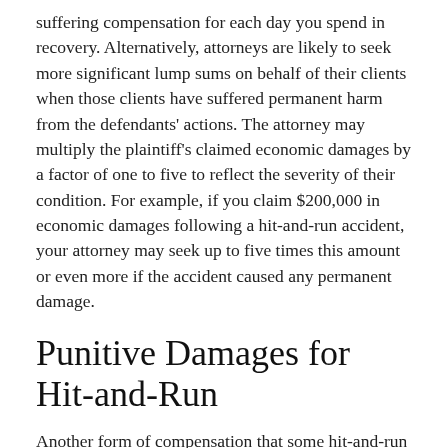suffering compensation for each day you spend in recovery. Alternatively, attorneys are likely to seek more significant lump sums on behalf of their clients when those clients have suffered permanent harm from the defendants' actions. The attorney may multiply the plaintiff's claimed economic damages by a factor of one to five to reflect the severity of their condition. For example, if you claim $200,000 in economic damages following a hit-and-run accident, your attorney may seek up to five times this amount or even more if the accident caused any permanent damage.
Punitive Damages for Hit-and-Run
Another form of compensation that some hit-and-run injury claim plaintiffs may receive is punitive damages.